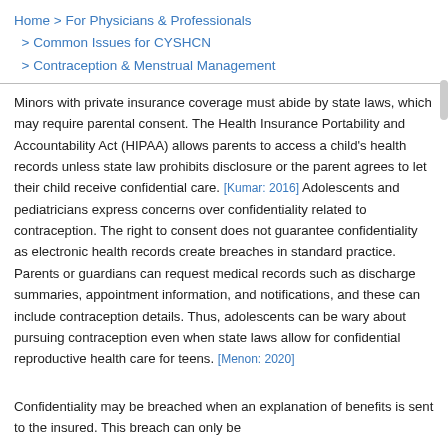Home > For Physicians & Professionals > Common Issues for CYSHCN > Contraception & Menstrual Management
Minors with private insurance coverage must abide by state laws, which may require parental consent. The Health Insurance Portability and Accountability Act (HIPAA) allows parents to access a child's health records unless state law prohibits disclosure or the parent agrees to let their child receive confidential care. [Kumar: 2016] Adolescents and pediatricians express concerns over confidentiality related to contraception. The right to consent does not guarantee confidentiality as electronic health records create breaches in standard practice. Parents or guardians can request medical records such as discharge summaries, appointment information, and notifications, and these can include contraception details. Thus, adolescents can be wary about pursuing contraception even when state laws allow for confidential reproductive health care for teens. [Menon: 2020]
Confidentiality may be breached when an explanation of benefits is sent to the insured. This breach can only be